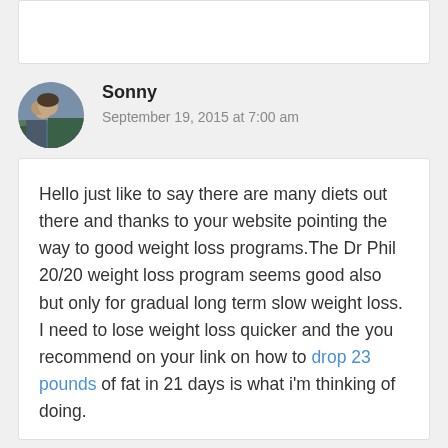Sonny
September 19, 2015 at 7:00 am
Hello just like to say there are many diets out there and thanks to your website pointing the way to good weight loss programs.The Dr Phil 20/20 weight loss program seems good also but only for gradual long term slow weight loss. I need to lose weight loss quicker and the you recommend on your link on how to drop 23 pounds of fat in 21 days is what i'm thinking of doing.